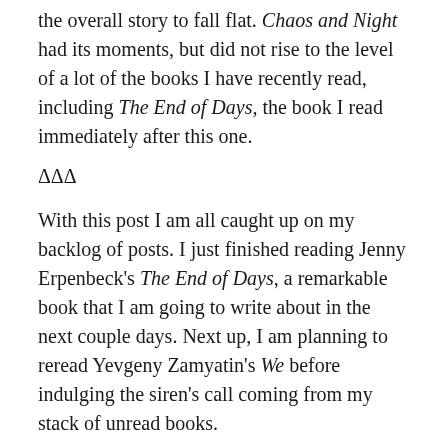the overall story to fall flat. Chaos and Night had its moments, but did not rise to the level of a lot of the books I have recently read, including The End of Days, the book I read immediately after this one.
ΔΔΔ
With this post I am all caught up on my backlog of posts. I just finished reading Jenny Erpenbeck's The End of Days, a remarkable book that I am going to write about in the next couple days. Next up, I am planning to reread Yevgeny Zamyatin's We before indulging the siren's call coming from my stack of unread books.
Posted in Literature, reading, Reviews  Tagged Chaos and Night, Henry de Montherlant, Literature, reading, Reviews, Spanish Civil War, Lorem...